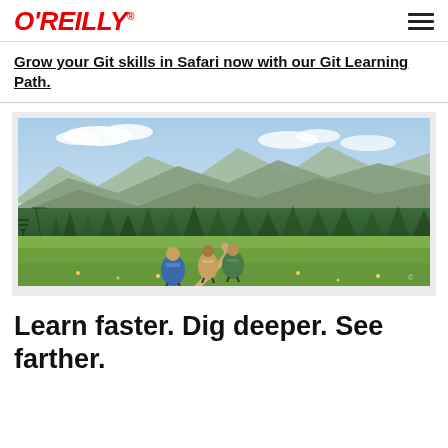O'REILLY
Grow your Git skills in Safari now with our Git Learning Path.
[Figure (photo): Group of hikers with large backpacks walking along a trail through green meadows with a dense forest and rolling mountain range in the background under a bright sky.]
Learn faster. Dig deeper. See farther.